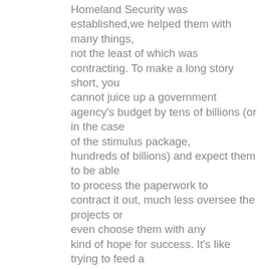Homeland Security was established,we helped them with many things, not the least of which was contracting. To make a long story short, you cannot juice up a government agency's budget by tens of billions (or in the case of the stimulus package, hundreds of billions) and expect them to be able to process the paperwork to contract it out, much less oversee the projects or even choose them with any kind of hope for success. It's like trying to feed a Pomeranian a 25 lb turkey. It's madness.
It was years before DHS got the situation under control and between the start and when they finally assembled a sufficiently capable team of lawyers, contracting officials, technical experts and resource managers, most of the money was totally wasted. Now take the DHS